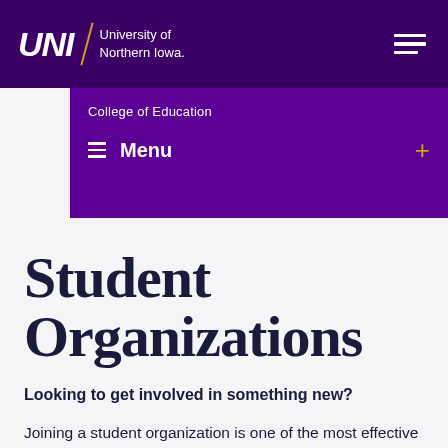[Figure (logo): University of Northern Iowa (UNI) logo with italic white bold text, gold diagonal divider line, and white university name text on dark purple background, with hamburger menu icon on right]
College of Education
≡ Menu
Student Organizations
Looking to get involved in something new?
Joining a student organization is one of the most effective ways to find community and pursue your passions at UNI. By joining a student organization, you can: